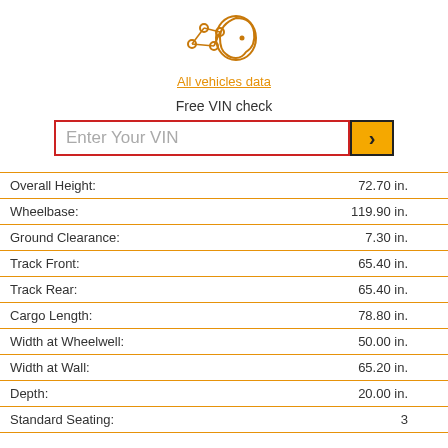[Figure (logo): All vehicles data logo with network/brain icon in orange]
Free VIN check
[Figure (screenshot): VIN input field with red border and orange arrow button]
| Overall Height: | 72.70 in. |
| Wheelbase: | 119.90 in. |
| Ground Clearance: | 7.30 in. |
| Track Front: | 65.40 in. |
| Track Rear: | 65.40 in. |
| Cargo Length: | 78.80 in. |
| Width at Wheelwell: | 50.00 in. |
| Width at Wall: | 65.20 in. |
| Depth: | 20.00 in. |
| Standard Seating: | 3 |